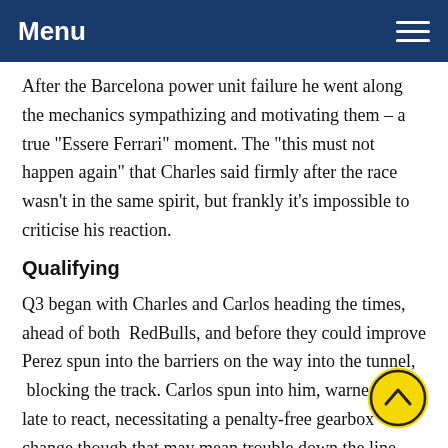Menu
After the Barcelona power unit failure he went along the mechanics sympathizing and motivating them – a true “Essere Ferrari” moment. The “this must not happen again” that Charles said firmly after the race wasn’t in the same spirit, but frankly it’s impossible to criticise his reaction.
Qualifying
Q3 began with Charles and Carlos heading the times, ahead of both  RedBulls, and before they could improve Perez spun into the barriers on the way into the tunnel,  blocking the track. Carlos spun into him, warned too late to react, necessitating a penalty-free gearbox change though that may mean trouble down the line. Needless to say, the graceless Verstappen